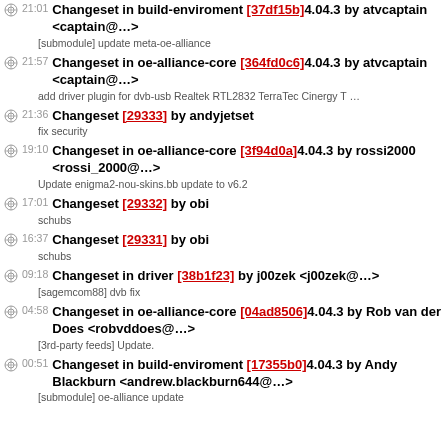21:01 Changeset in build-enviroment [37df15b]4.04.3 by atvcaptain <captain@...>
[submodule] update meta-oe-alliance
21:57 Changeset in oe-alliance-core [364fd0c6]4.04.3 by atvcaptain <captain@...>
add driver plugin for dvb-usb Realtek RTL2832 TerraTec Cinergy T ...
21:36 Changeset [29333] by andyjetset
fix security
19:10 Changeset in oe-alliance-core [3f94d0a]4.04.3 by rossi2000 <rossi_2000@...>
Update enigma2-nou-skins.bb update to v6.2
17:01 Changeset [29332] by obi
schubs
16:37 Changeset [29331] by obi
schubs
09:18 Changeset in driver [38b1f23] by j00zek <j00zek@...>
[sagemcom88] dvb fix
04:58 Changeset in oe-alliance-core [04ad8506]4.04.3 by Rob van der Does <robvddoes@...>
[3rd-party feeds] Update.
00:51 Changeset in build-enviroment [17355b0]4.04.3 by Andy Blackburn <andrew.blackburn644@...>
[submodule] oe-alliance update